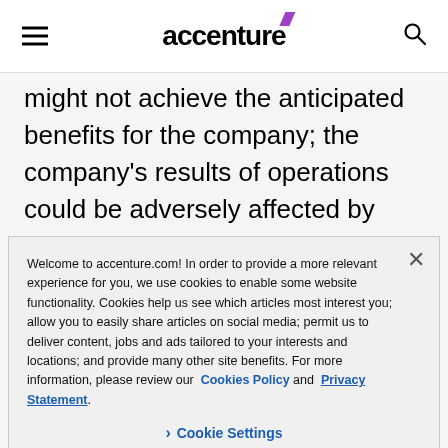accenture
might not achieve the anticipated benefits for the company; the company's results of operations could be adversely affected by volatile, negative or uncertain economic conditions and the effects of these
Welcome to accenture.com! In order to provide a more relevant experience for you, we use cookies to enable some website functionality. Cookies help us see which articles most interest you; allow you to easily share articles on social media; permit us to deliver content, jobs and ads tailored to your interests and locations; and provide many other site benefits. For more information, please review our Cookies Policy and Privacy Statement.
Cookie Settings